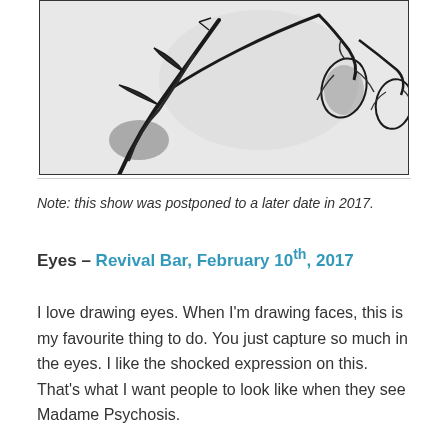[Figure (illustration): Black and white drawing of wilting flowers and plant stems against a light background]
Note: this show was postponed to a later date in 2017.
Eyes – Revival Bar, February 10th, 2017
I love drawing eyes. When I'm drawing faces, this is my favourite thing to do. You just capture so much in the eyes. I like the shocked expression on this. That's what I want people to look like when they see Madame Psychosis.